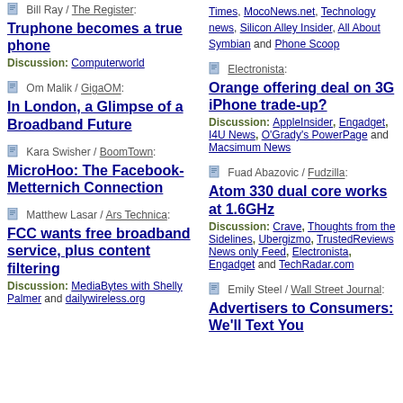Bill Ray / The Register: Truphone becomes a true phone — Discussion: Computerworld
Om Malik / GigaOM: In London, a Glimpse of a Broadband Future
Kara Swisher / BoomTown: MicroHoo: The Facebook-Metternich Connection
Matthew Lasar / Ars Technica: FCC wants free broadband service, plus content filtering — Discussion: MediaBytes with Shelly Palmer and dailywireless.org
Times, MocoNews.net, Technology news, Silicon Alley Insider, All About Symbian and Phone Scoop
Electronista: Orange offering deal on 3G iPhone trade-up? — Discussion: AppleInsider, Engadget, I4U News, O'Grady's PowerPage and Macsimum News
Fuad Abazovic / Fudzilla: Atom 330 dual core works at 1.6GHz — Discussion: Crave, Thoughts from the Sidelines, Ubergizmo, TrustedReviews News only Feed, Electronista, Engadget and TechRadar.com
Emily Steel / Wall Street Journal: Advertisers to Consumers: We'll Text You